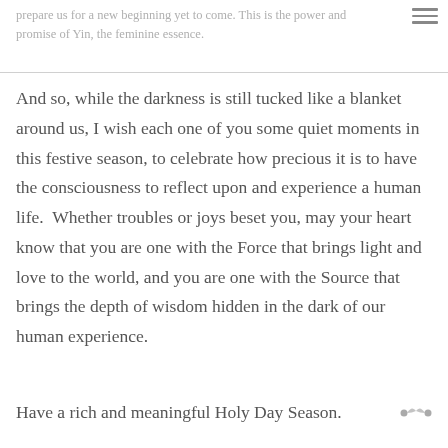prepare us for a new beginning yet to come. This is the power and promise of Yin, the feminine essence.
And so, while the darkness is still tucked like a blanket around us, I wish each one of you some quiet moments in this festive season, to celebrate how precious it is to have the consciousness to reflect upon and experience a human life.  Whether troubles or joys beset you, may your heart know that you are one with the Force that brings light and love to the world, and you are one with the Source that brings the depth of wisdom hidden in the dark of our human experience.
Have a rich and meaningful Holy Day Season.